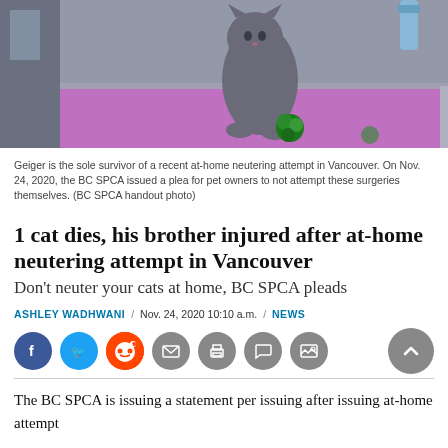[Figure (photo): Grey cat sitting on a purple-surfaced grooming table, playing with a green feather toy. Background shows a grooming or veterinary room.]
Geiger is the sole survivor of a recent at-home neutering attempt in Vancouver. On Nov. 24, 2020, the BC SPCA issued a plea for pet owners to not attempt these surgeries themselves. (BC SPCA handout photo)
1 cat dies, his brother injured after at-home neutering attempt in Vancouver
Don't neuter your cats at home, BC SPCA pleads
ASHLEY WADHWANI / Nov. 24, 2020 10:10 a.m. / NEWS
[Figure (other): Social sharing icons: Facebook, Twitter, Reddit, Email, Print, Comment, Gallery. Scroll-to-top button on right.]
The BC SPCA is issuing a statement per issuing after issuing at-home attempt